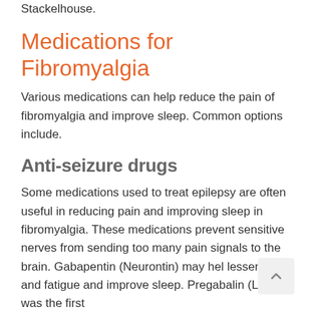Stackelhouse.
Medications for Fibromyalgia
Various medications can help reduce the pain of fibromyalgia and improve sleep. Common options include.
Anti-seizure drugs
Some medications used to treat epilepsy are often useful in reducing pain and improving sleep in fibromyalgia. These medications prevent sensitive nerves from sending too many pain signals to the brain. Gabapentin (Neurontin) may hel lessen pain and fatigue and improve sleep. Pregabalin (Lyrica) was the first